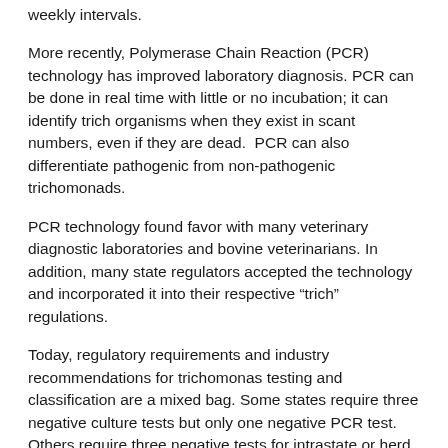weekly intervals.
More recently, Polymerase Chain Reaction (PCR) technology has improved laboratory diagnosis. PCR can be done in real time with little or no incubation; it can identify trich organisms when they exist in scant numbers, even if they are dead.  PCR can also differentiate pathogenic from non-pathogenic trichomonads.
PCR technology found favor with many veterinary diagnostic laboratories and bovine veterinarians. In addition, many state regulators accepted the technology and incorporated it into their respective “trich” regulations.
Today, regulatory requirements and industry recommendations for trichomonas testing and classification are a mixed bag. Some states require three negative culture tests but only one negative PCR test. Others require three negative tests for intrastate or herd classification, but only one test for interstate movement.  The type of test may, or may not be spelled out, further complicating an attempt for uniform regulations or guidelines. In addition, state regulations seldom address the testing protocol